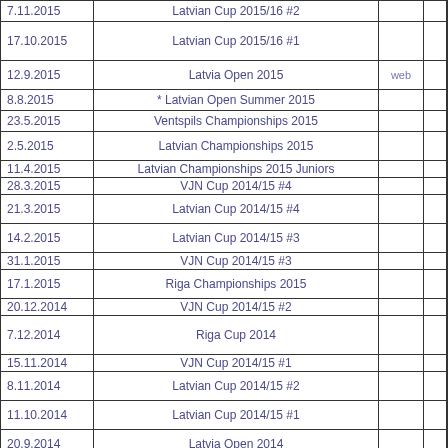| Date | Tournament | Web |  |
| --- | --- | --- | --- |
| 7.11.2015 | Latvian Cup 2015/16 #2 |  |  |
| 17.10.2015 | Latvian Cup 2015/16 #1 |  |  |
| 12.9.2015 | Latvia Open 2015 | web |  |
| 8.8.2015 | * Latvian Open Summer 2015 |  |  |
| 23.5.2015 | Ventspils Championships 2015 |  |  |
| 2.5.2015 | Latvian Championships 2015 |  |  |
| 11.4.2015 | Latvian Championships 2015 Juniors |  |  |
| 28.3.2015 | VJN Cup 2014/15 #4 |  |  |
| 21.3.2015 | Latvian Cup 2014/15 #4 |  |  |
| 14.2.2015 | Latvian Cup 2014/15 #3 |  |  |
| 31.1.2015 | VJN Cup 2014/15 #3 |  |  |
| 17.1.2015 | Riga Championships 2015 |  |  |
| 20.12.2014 | VJN Cup 2014/15 #2 |  |  |
| 7.12.2014 | Riga Cup 2014 |  |  |
| 15.11.2014 | VJN Cup 2014/15 #1 |  |  |
| 8.11.2014 | Latvian Cup 2014/15 #2 |  |  |
| 11.10.2014 | Latvian Cup 2014/15 #1 |  |  |
| 20.9.2014 | Latvia Open 2014 |  |  |
| 31.5.2014 | Ventspils Championships 2014 |  |  |
| 31.5.2014 | Ventspils Championships 2014 Juniors |  |  |